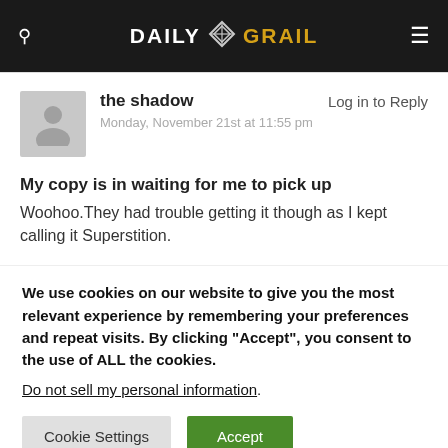DAILY GRAIL
the shadow
Monday, November 21st at 11:55 pm
Log in to Reply
My copy is in waiting for me to pick up
Woohoo.They had trouble getting it though as I kept calling it Superstition.
We use cookies on our website to give you the most relevant experience by remembering your preferences and repeat visits. By clicking “Accept”, you consent to the use of ALL the cookies.
Do not sell my personal information.
Cookie Settings
Accept